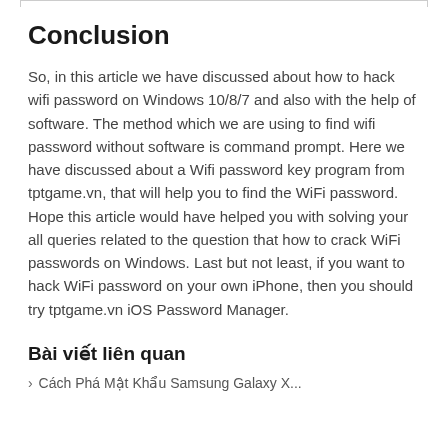Conclusion
So, in this article we have discussed about how to hack wifi password on Windows 10/8/7 and also with the help of software. The method which we are using to find wifi password without software is command prompt. Here we have discussed about a Wifi password key program from tptgame.vn, that will help you to find the WiFi password. Hope this article would have helped you with solving your all queries related to the question that how to crack WiFi passwords on Windows. Last but not least, if you want to hack WiFi password on your own iPhone, then you should try tptgame.vn iOS Password Manager.
Bài viết liên quan
› Cách Phá Mật Khẩu Samsung Galaxy X...